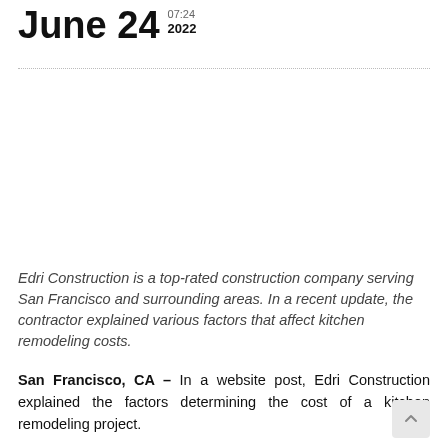June 24 07:24 2022
Edri Construction is a top-rated construction company serving San Francisco and surrounding areas. In a recent update, the contractor explained various factors that affect kitchen remodeling costs.
San Francisco, CA – In a website post, Edri Construction explained the factors determining the cost of a kitchen remodeling project.